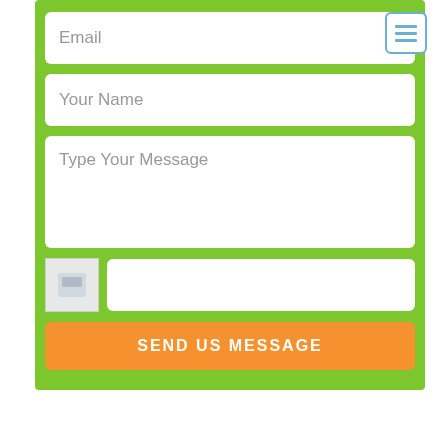[Figure (screenshot): A contact form with green background, containing Email input, Your Name input, Type Your Message textarea, a CAPTCHA image and text input, and a Send Us Message orange button. There is also a hamburger menu icon in the top right corner.]
Email
Your Name
Type Your Message
SEND US MESSAGE